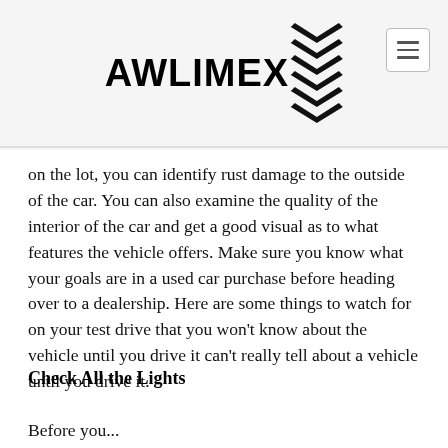AWLIMEX [logo with tire tread pattern]
on the lot, you can identify rust damage to the outside of the car. You can also examine the quality of the interior of the car and get a good visual as to what features the vehicle offers. Make sure you know what your goals are in a used car purchase before heading over to a dealership. Here are some things to watch for on your test drive that you won't know about the vehicle until you drive it can't really tell about a vehicle until you drive it.
Check All the Lights
Before you...